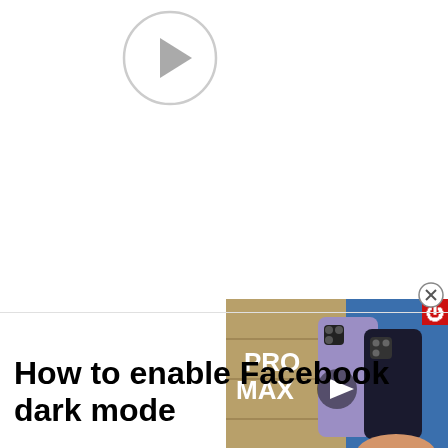[Figure (other): Video play button circle with grey outline and right-pointing triangle in the upper left area of the page]
[Figure (screenshot): Ad thumbnail showing PRO MAX and X5 PRO smartphones with a play button overlay and a red power icon in the corner]
How to enable Facebook dark mode